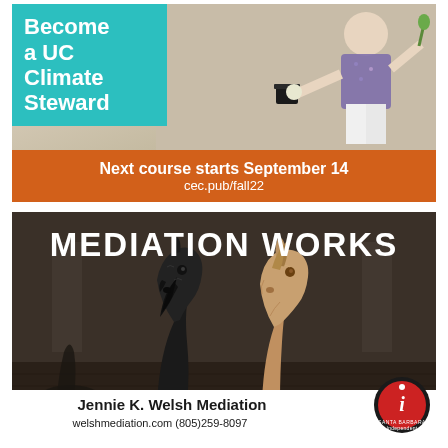[Figure (infographic): Top advertisement for UC Climate Steward program. Teal box with white bold text 'Become a UC Climate Steward' overlaid on beach photo of person holding bucket and plant. Orange bar at bottom with white text 'Next course starts September 14' and 'cec.pub/fall22'.]
[Figure (infographic): Bottom advertisement for Jennie K. Welsh Mediation featuring 'MEDIATION WORKS' in white bold text over dark background with two stone horse head sculptures facing each other (one dark/black, one tan/light). White bar at bottom with 'Jennie K. Welsh Mediation' and contact info 'welshmediation.com (805)259-8097'. Santa Barbara Independent logo badge in lower right.]